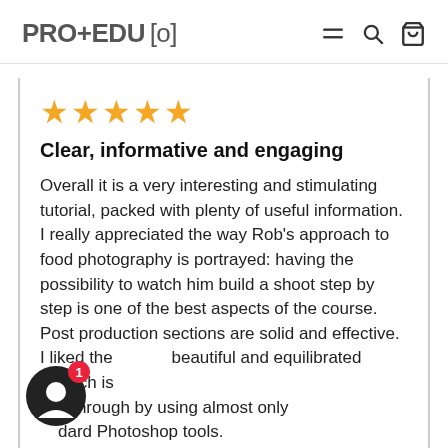PRO+EDU [o]
[Figure (other): Five golden star rating icons]
Clear, informative and engaging
Overall it is a very interesting and stimulating tutorial, packed with plenty of useful information. I really appreciated the way Rob's approach to food photography is portrayed: having the possibility to watch him build a shoot step by step is one of the best aspects of the course. Post production sections are solid and effective. I liked the beautiful and equilibrated retouch is d through by using almost only dard Photoshop tools.